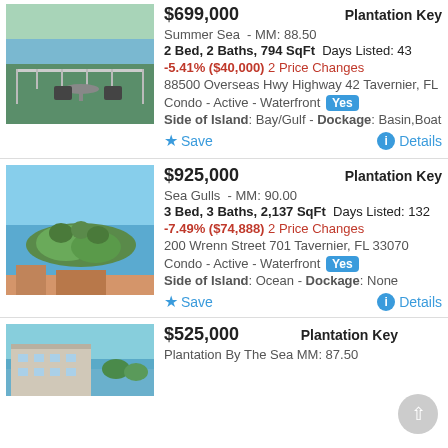[Figure (photo): Balcony with chairs overlooking water and trees]
$699,000 — Plantation Key
Summer Sea - MM: 88.50
2 Bed, 2 Baths, 794 SqFt  Days Listed: 43
-5.41% ($40,000) 2 Price Changes
88500 Overseas Hwy Highway 42 Tavernier, FL
Condo - Active - Waterfront Yes
Side of Island: Bay/Gulf - Dockage: Basin,Boat
[Figure (photo): Aerial view of island with blue water and greenery]
$925,000 — Plantation Key
Sea Gulls - MM: 90.00
3 Bed, 3 Baths, 2,137 SqFt  Days Listed: 132
-7.49% ($74,888) 2 Price Changes
200 Wrenn Street 701 Tavernier, FL 33070
Condo - Active - Waterfront Yes
Side of Island: Ocean - Dockage: None
[Figure (photo): Aerial view of coastal building]
$525,000 — Plantation Key
Plantation By The Sea - MM: 87.50